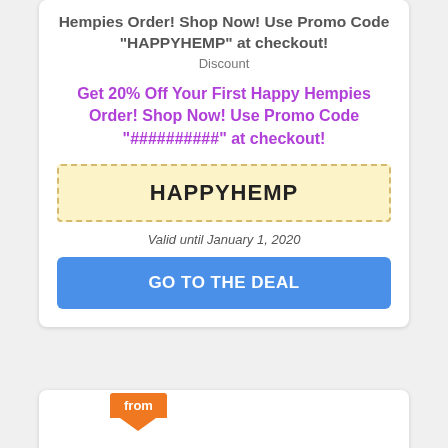Hempies Order! Shop Now! Use Promo Code "HAPPYHEMP" at checkout!
Discount
Get 20% Off Your First Happy Hempies Order! Shop Now! Use Promo Code "##########" at checkout!
HAPPYHEMP
Valid until January 1, 2020
GO TO THE DEAL
from